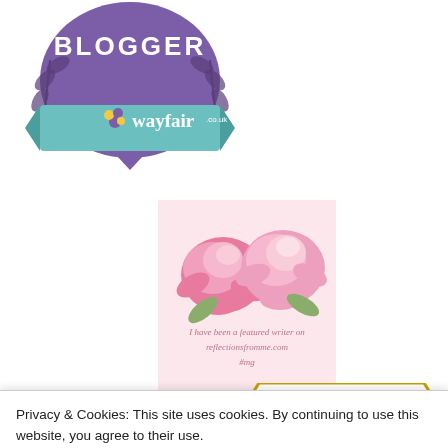[Figure (logo): Wayfair.co.uk blogger badge — purple shield with laurel leaves, teal ribbon banner reading 'wayfair.co.uk']
[Figure (illustration): Pink roses on pale pink background with cursive text: 'I have been a featured writer on reflectionsfromme.com #mg']
[Figure (logo): Partial red/brown W-style striped logo at bottom left, partially obscured by cookie banner]
[Figure (logo): Partial badge outline at right partially obscured by cookie banner]
Privacy & Cookies: This site uses cookies. By continuing to use this website, you agree to their use.
To find out more, including how to control cookies, see here: Cookie Policy
Close and accept
[Figure (logo): Gold circular blog award badge at bottom left, partially visible]
[Figure (logo): BLOGS 2018 gold and black badge at bottom right, partially visible]